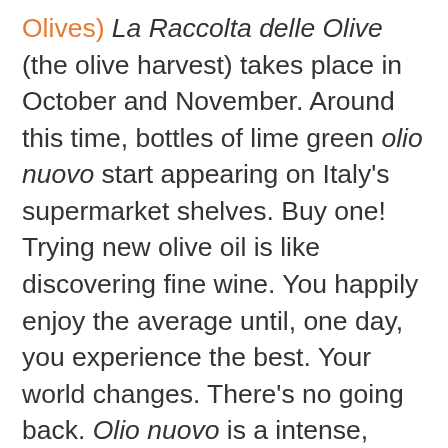Olives) La Raccolta delle Olive (the olive harvest) takes place in October and November. Around this time, bottles of lime green olio nuovo start appearing on Italy's supermarket shelves. Buy one! Trying new olive oil is like discovering fine wine. You happily enjoy the average until, one day, you experience the best. Your world changes. There's no going back. Olio nuovo is a intense, chartreuse explosion of flavor and aroma, with an almost spicy kick. It can't even be compared to the taste of an older bottle, and it only costs a few euros more. While you're at it, change the way you think about olives, too, and bring home a few olive verdi dolci sotto ranno (sweet, lye-cured, green olives). Lye is a water and ash mixture that takes away an olive's bitterness. So, there will be no scrunched noses or sour expressions when you bite into one of these nutty, almost